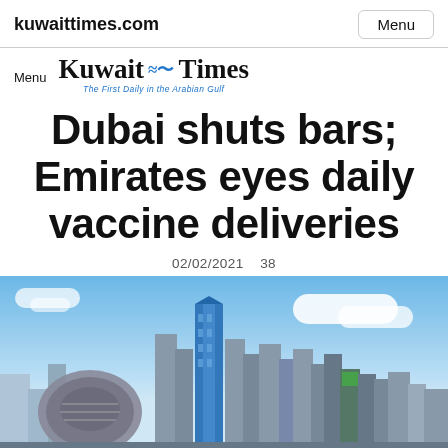kuwaittimes.com    Menu
[Figure (logo): Kuwait Times newspaper logo with blackletter font, decorative wave/boat emblem in blue, and tagline 'The First Daily in the Arabian Gulf']
Dubai shuts bars; Emirates eyes daily vaccine deliveries
02/02/2021    38
[Figure (photo): Dubai skyline featuring the Museum of the Future (circular building with calligraphy) and modern skyscrapers against a blue sky with clouds]